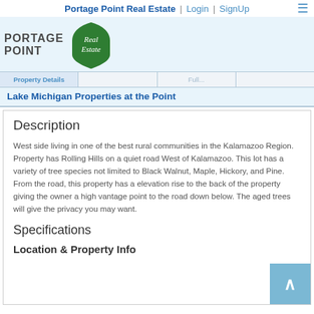Portage Point Real Estate | Login | SignUp
[Figure (logo): Portage Point Real Estate logo with green shield and cursive 'Real Estate' text]
Property Details
Lake Michigan Properties at the Point
Description
West side living in one of the best rural communities in the Kalamazoo Region. Property has Rolling Hills on a quiet road West of Kalamazoo. This lot has a variety of tree species not limited to Black Walnut, Maple, Hickory, and Pine. From the road, this property has a elevation rise to the back of the property giving the owner a high vantage point to the road down below. The aged trees will give the privacy you may want.
Specifications
Location & Property Info